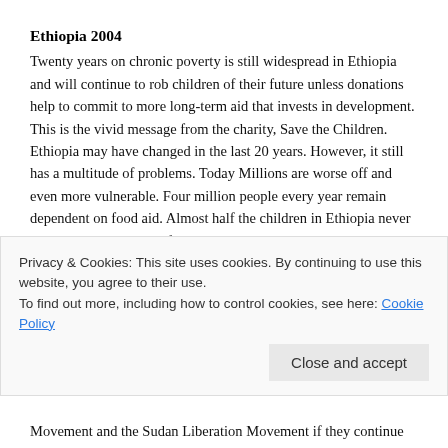Ethiopia 2004
Twenty years on chronic poverty is still widespread in Ethiopia and will continue to rob children of their future unless donations help to commit to more long-term aid that invests in development. This is the vivid message from the charity, Save the Children. Ethiopia may have changed in the last 20 years. However, it still has a multitude of problems. Today Millions are worse off and even more vulnerable. Four million people every year remain dependent on food aid. Almost half the children in Ethiopia never go to school. Many die from illnesses related to malnutrition before their fifth birthday and those who survive have few opportunities for earning a living.
November 14th 2004 – A new Band Aid single was recorded.
Sudan – 2004. On Monday, 15 November 2004 Non-Government Movement and the Sudan Liberation Movement if they continue
Privacy & Cookies: This site uses cookies. By continuing to use this website, you agree to their use.
To find out more, including how to control cookies, see here: Cookie Policy